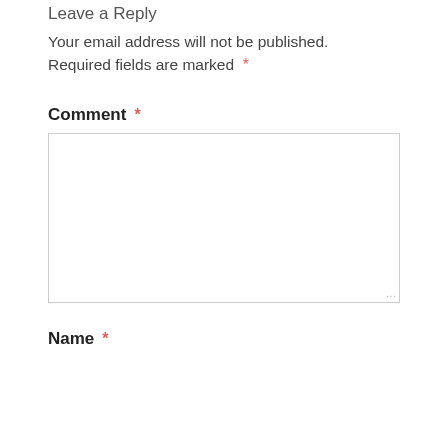Leave a Reply
Your email address will not be published.
Required fields are marked *
Comment *
[Figure (other): Large empty comment textarea input field]
Name *